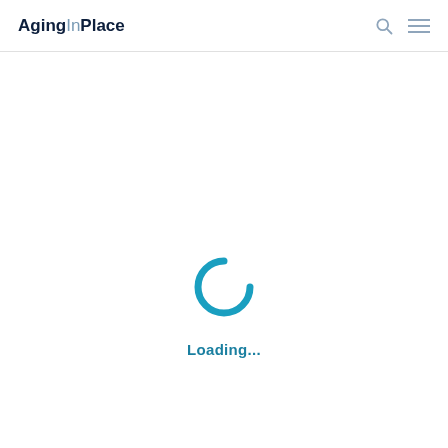AgingInPlace
[Figure (illustration): Loading spinner — a teal/cyan circular arc (C-shape) indicating content is loading]
Loading...